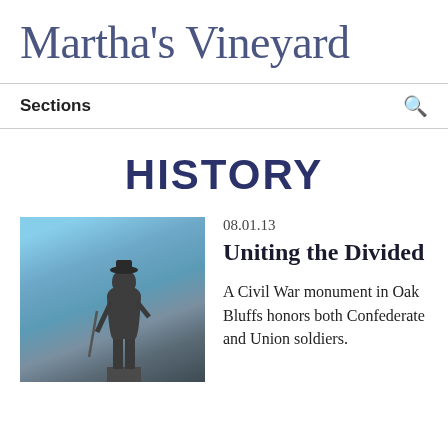Martha's Vineyard
Sections
HISTORY
[Figure (photo): Statue of a Civil War soldier against a blue sky background]
08.01.13
Uniting the Divided
A Civil War monument in Oak Bluffs honors both Confederate and Union soldiers.